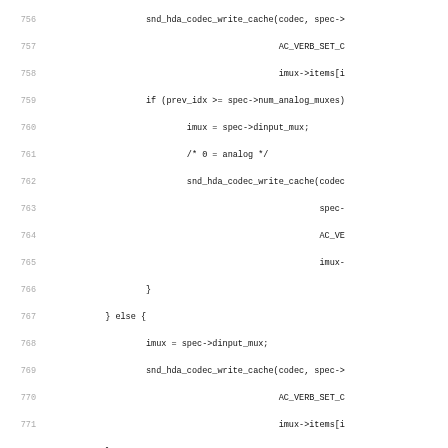[Figure (screenshot): Source code listing showing C code for Linux kernel audio driver (STAC92xx HDA codec), lines 756-787. Functions include stac92xx_mono_mux_enum_info and stac92xx_mono_mux_enum_get. Code shows mux selection logic with snd_hda_codec_write_cache calls.]